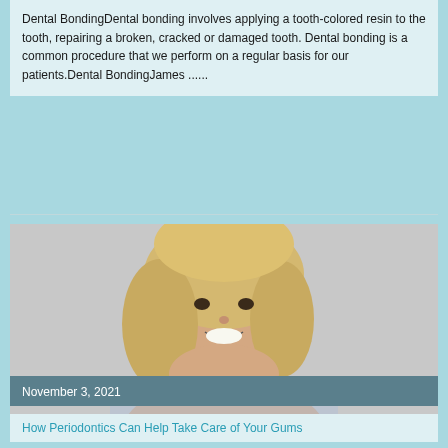Dental BondingDental bonding involves applying a tooth-colored resin to the tooth, repairing a broken, cracked or damaged tooth. Dental bonding is a common procedure that we perform on a regular basis for our patients.Dental BondingJames ......
[Figure (photo): A smiling middle-aged blonde woman wearing a light blue striped shirt, photographed against a neutral grey background.]
November 3, 2021
How Periodontics Can Help Take Care of Your Gums